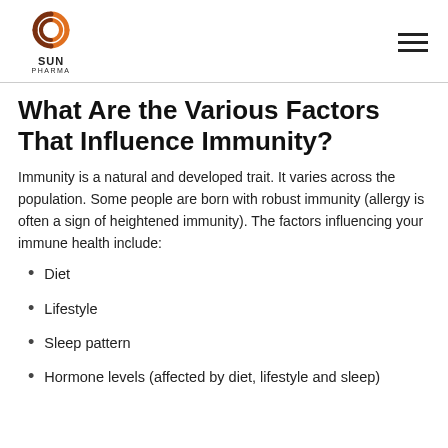Sun Pharma logo and navigation
What Are the Various Factors That Influence Immunity?
Immunity is a natural and developed trait. It varies across the population. Some people are born with robust immunity (allergy is often a sign of heightened immunity). The factors influencing your immune health include:
Diet
Lifestyle
Sleep pattern
Hormone levels (affected by diet, lifestyle and sleep)